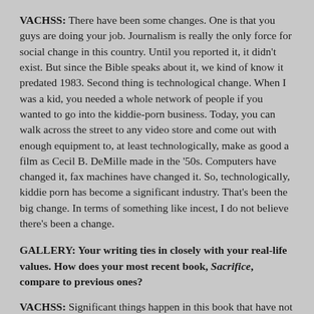VACHSS: There have been some changes. One is that you guys are doing your job. Journalism is really the only force for social change in this country. Until you reported it, it didn't exist. But since the Bible speaks about it, we kind of know it predated 1983. Second thing is technological change. When I was a kid, you needed a whole network of people if you wanted to go into the kiddie-porn business. Today, you can walk across the street to any video store and come out with enough equipment to, at least technologically, make as good a film as Cecil B. DeMille made in the '50s. Computers have changed it, fax machines have changed it. So, technologically, kiddie porn has become a significant industry. That's been the big change. In terms of something like incest, I do not believe there's been a change.
GALLERY: Your writing ties in closely with your real-life values. How does your most recent book, Sacrifice, compare to previous ones?
VACHSS: Significant things happen in this book that have not happened in previous books. On the surface, this is about "satanic" child abuse because I think that's gotten mythologized very much. What I mean by "satanic" is very different from what the media means by it. What I mean by it is simple terrorist child abuse using satanic trappings in furtherance of that terror. I don't believe any connection to